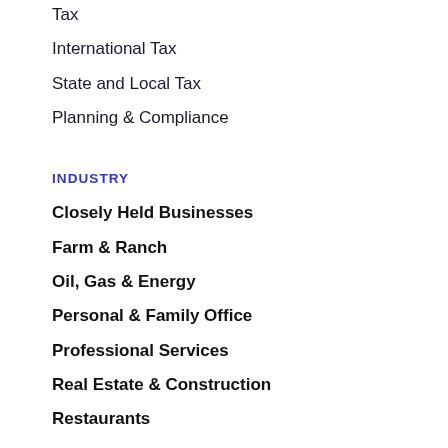Tax
International Tax
State and Local Tax
Planning & Compliance
INDUSTRY
Closely Held Businesses
Farm & Ranch
Oil, Gas & Energy
Personal & Family Office
Professional Services
Real Estate & Construction
Restaurants
CAREERS
Join ATKG
Experienced Professional
College Students & Internships
Available Positions